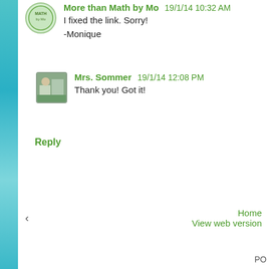More than Math by Mo  19/1/14 10:32 AM
I fixed the link. Sorry!
-Monique
Mrs. Sommer  19/1/14 12:08 PM
Thank you! Got it!
Reply
‹
Home
View web version
PO